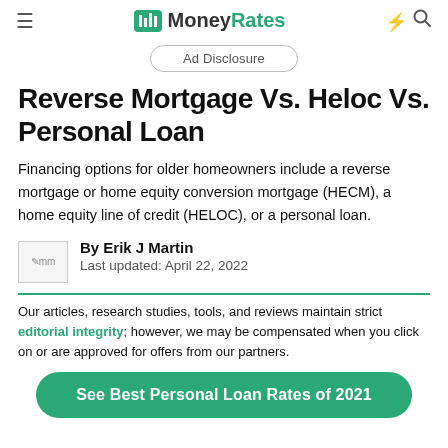MoneyRates
Ad Disclosure
Reverse Mortgage Vs. Heloc Vs. Personal Loan
Financing options for older homeowners include a reverse mortgage or home equity conversion mortgage (HECM), a home equity line of credit (HELOC), or a personal loan.
By Erik J Martin
Last updated: April 22, 2022
Our articles, research studies, tools, and reviews maintain strict editorial integrity; however, we may be compensated when you click on or are approved for offers from our partners.
See Best Personal Loan Rates of 2021